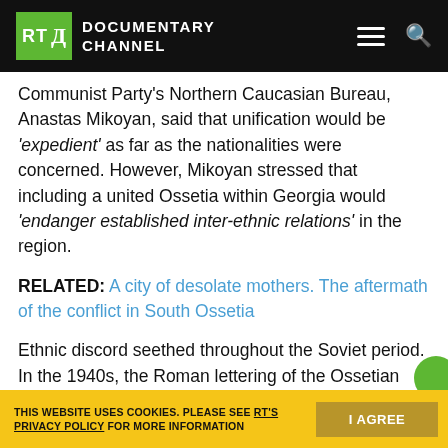RT Documentary Channel
Communist Party’s Northern Caucasian Bureau, Anastas Mikoyan, said that unification would be ‘expedient’ as far as the nationalities were concerned. However, Mikoyan stressed that including a united Ossetia within Georgia would ‘endanger established inter-ethnic relations’ in the region.
RELATED: A city of desolate mothers. The aftermath of the conflict in South Ossetia
Ethnic discord seethed throughout the Soviet period. In the 1940s, the Roman lettering of the Ossetian alphabet was replaced with Georgian script. The authorities in Tblisi then...
THIS WEBSITE USES COOKIES. PLEASE SEE RT’S PRIVACY POLICY FOR MORE INFORMATION  I AGREE